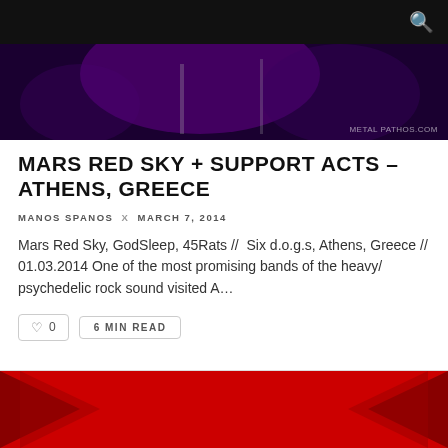[Figure (photo): Dark purple/violet stage concert photo banner with lighting equipment visible. Watermark reads 'METAL PATHOS.COM' in bottom right corner.]
MARS RED SKY + SUPPORT ACTS – ATHENS, GREECE
MANOS SPANOS x MARCH 7, 2014
Mars Red Sky, GodSleep, 45Rats // Six d.o.g.s, Athens, Greece // 01.03.2014 One of the most promising bands of the heavy/ psychedelic rock sound visited A…
♡ 0   6 MIN READ
[Figure (photo): Red background image with '45RATS' text in large orange bold font and 'electric' written below in white italic script font. Red chevron/arrow shapes on sides.]